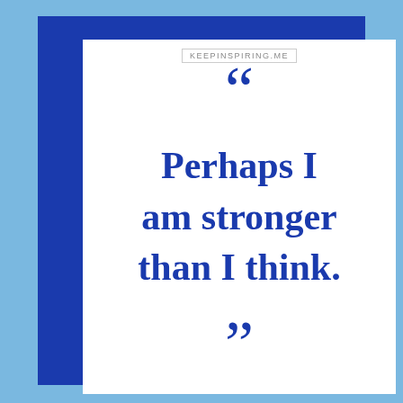KEEPINSPIRING.ME
“Perhaps I am stronger than I think.”